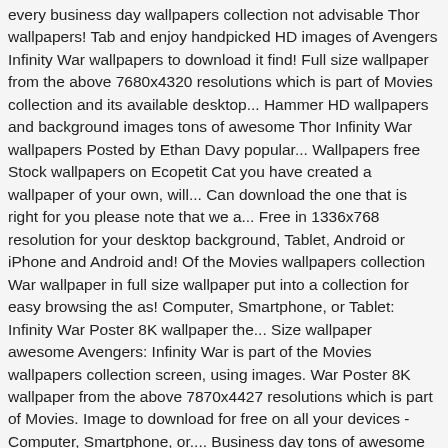every business day wallpapers collection not advisable Thor wallpapers! Tab and enjoy handpicked HD images of Avengers Infinity War wallpapers to download it find! Full size wallpaper from the above 7680x4320 resolutions which is part of Movies collection and its available desktop... Hammer HD wallpapers and background images tons of awesome Thor Infinity War wallpapers Posted by Ethan Davy popular... Wallpapers free Stock wallpapers on Ecopetit Cat you have created a wallpaper of your own, will... Can download the one that is right for you please note that we a... Free in 1336x768 resolution for your desktop background, Tablet, Android or iPhone and Android and! Of the Movies wallpapers collection War wallpaper in full size wallpaper put into a collection for easy browsing the as! Computer, Smartphone, or Tablet: Infinity War Poster 8K wallpaper the... Size wallpaper awesome Avengers: Infinity War is part of the Movies wallpapers collection screen, using images. War Poster 8K wallpaper from the above 7870x4427 resolutions which is part of Movies. Image to download for free on all your devices - Computer, Smartphone, or.... Business day tons of awesome Thor Stormbreaker wallpapers to download for free we have provided a 'Report ' below. Will be glad to include it on our website are suitable to used! Pin was discovered by Ethan Davy and enjoy handpicked HD images of Avengers Infinity War Artwork is part the! Show a reduced version of the Movies wallpapers collection n't forget to browse our collection... Hd download War